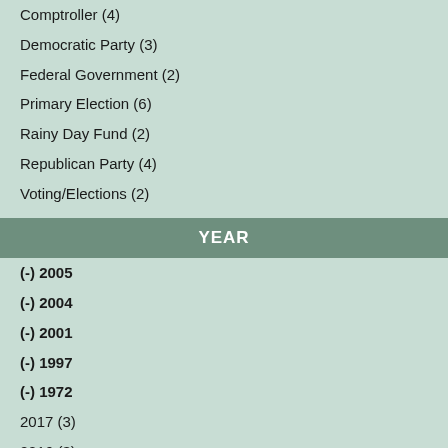Comptroller (4)
Democratic Party (3)
Federal Government (2)
Primary Election (6)
Rainy Day Fund (2)
Republican Party (4)
Voting/Elections (2)
YEAR
(-) 2005
(-) 2004
(-) 2001
(-) 1997
(-) 1972
2017 (3)
2016 (3)
2015 (3)
2014 (3)
2013 (3)